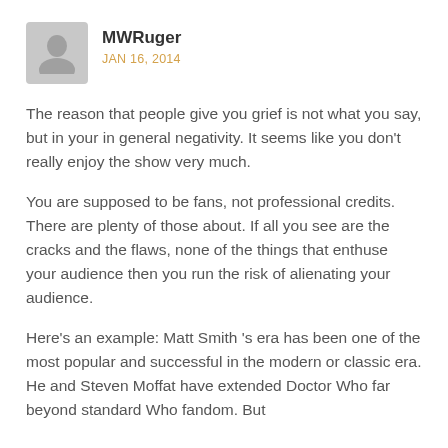MWRuger
JAN 16, 2014
The reason that people give you grief is not what you say, but in your in general negativity. It seems like you don't really enjoy the show very much.
You are supposed to be fans, not professional credits. There are plenty of those about. If all you see are the cracks and the flaws, none of the things that enthuse your audience then you run the risk of alienating your audience.
Here's an example: Matt Smith 's era has been one of the most popular and successful in the modern or classic era. He and Steven Moffat have extended Doctor Who far beyond standard Who fandom. But